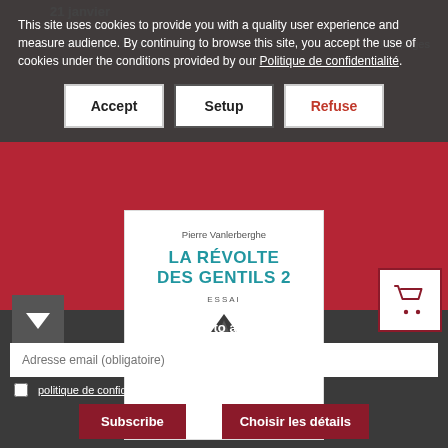21 janvier
17,8 × 11,1 × 0,7 cm   108 pages
9,00 € - 10,00 € TTC
This site uses cookies to provide you with a quality user experience and measure audience. By continuing to browse this site, you accept the use of cookies under the conditions provided by our Politique de confidentialité.
Accept
Setup
Refuse
[Figure (other): Shopping cart icon in a white box with dark red border]
[Figure (illustration): Book cover: Pierre Vanlerberghe - LA RÉVOLTE DES GENTILS 2, ESSAI, with mountain illustration]
[Figure (other): Dark gray box with downward-pointing triangle/arrow]
Stay tuned to all our news
Adresse email (obligatoire)
politique de confidentialité *
Subscribe
ou
Choisir les détails